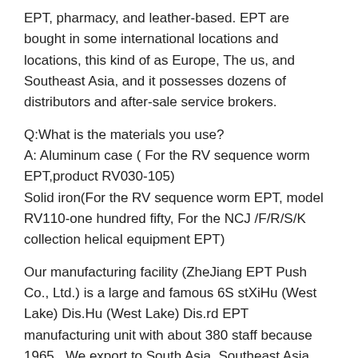EPT, pharmacy, and leather-based. EPT are bought in some international locations and locations, this kind of as Europe, The us, and Southeast Asia, and it possesses dozens of distributors and after-sale service brokers.
Q:What is the materials you use?
A: Aluminum case ( For the RV sequence worm EPT,product RV030-105)
Solid iron(For the RV sequence worm EPT, model RV110-one hundred fifty, For the NCJ /F/R/S/K collection helical equipment EPT)
Our manufacturing facility (ZheJiang EPT Push Co., Ltd.) is a large and famous 6S stXiHu (West Lake) Dis.Hu (West Lake) Dis.rd EPT manufacturing unit with about 380 staff because 1965 . We export to South Asia, Southeast Asia, Africa, Middle EPT, South The usa, North The united states, Europe...etc. We offer EPT to SIEMENS,AEPTEPT,SACMI,EPTUHLER...and so